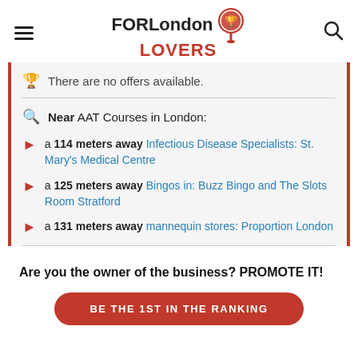FOR London LOVERS
There are no offers available.
Near AAT Courses in London:
a 114 meters away Infectious Disease Specialists: St. Mary's Medical Centre
a 125 meters away Bingos in: Buzz Bingo and The Slots Room Stratford
a 131 meters away mannequin stores: Proportion London
Are you the owner of the business? PROMOTE IT!
BE THE 1ST IN THE RANKING